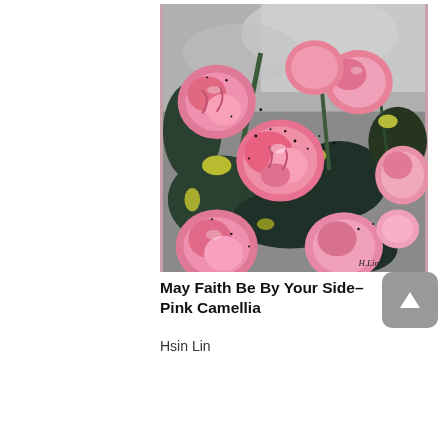[Figure (illustration): A painting of pink camellia flowers with yellow accents and dark green leaves on a gray and black background, with black spatter marks. Artist signature 'H. Lin' visible in lower right. By Hsin Lin.]
May Faith Be By Your Side–Pink Camellia
Hsin Lin